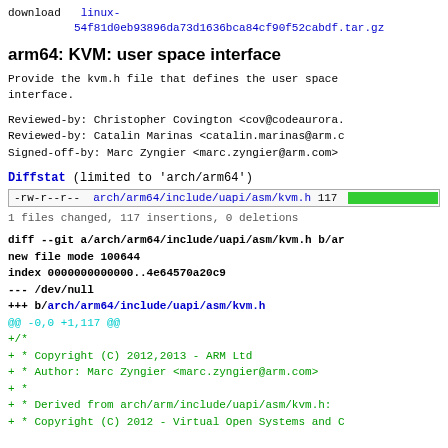download   linux-54f81d0eb93896da73d1636bca84cf90f52cabdf.tar.gz
arm64: KVM: user space interface
Provide the kvm.h file that defines the user space interface.
Reviewed-by: Christopher Covington <cov@codeaurora.>
Reviewed-by: Catalin Marinas <catalin.marinas@arm.c>
Signed-off-by: Marc Zyngier <marc.zyngier@arm.com>
Diffstat (limited to 'arch/arm64')
| permissions | file | lines | bar |
| --- | --- | --- | --- |
| -rw-r--r-- | arch/arm64/include/uapi/asm/kvm.h | 117 |  |
1 files changed, 117 insertions, 0 deletions
diff --git a/arch/arm64/include/uapi/asm/kvm.h b/ar
new file mode 100644
index 0000000000000..4e64570a20c9
--- /dev/null
+++ b/arch/arm64/include/uapi/asm/kvm.h
@@ -0,0 +1,117 @@
+/*
+ * Copyright (C) 2012,2013 - ARM Ltd
+ * Author: Marc Zyngier <marc.zyngier@arm.com>
+ *
+ * Derived from arch/arm/include/uapi/asm/kvm.h:
+ * Copyright (C) 2012 - Virtual Open Systems and C